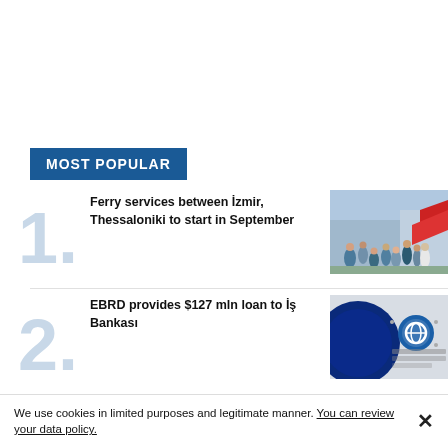MOST POPULAR
Ferry services between İzmir, Thessaloniki to start in September
[Figure (photo): People boarding a ferry, crowd on dock with red gangway]
EBRD provides $127 mln loan to İş Bankası
[Figure (photo): European Bank for Reconstruction and Development logo/signage, close-up blue circle]
We use cookies in limited purposes and legitimate manner. You can review your data policy.